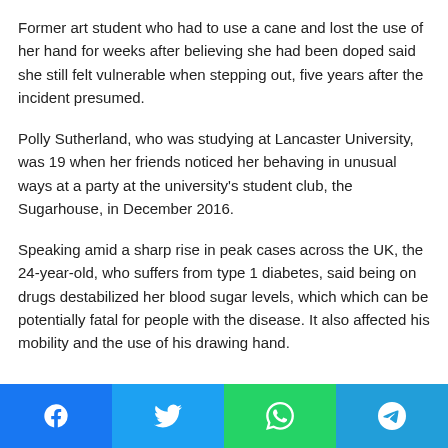Former art student who had to use a cane and lost the use of her hand for weeks after believing she had been doped said she still felt vulnerable when stepping out, five years after the incident presumed.
Polly Sutherland, who was studying at Lancaster University, was 19 when her friends noticed her behaving in unusual ways at a party at the university's student club, the Sugarhouse, in December 2016.
Speaking amid a sharp rise in peak cases across the UK, the 24-year-old, who suffers from type 1 diabetes, said being on drugs destabilized her blood sugar levels, which which can be potentially fatal for people with the disease. It also affected his mobility and the use of his drawing hand.
Share buttons: Facebook, Twitter, WhatsApp, Telegram